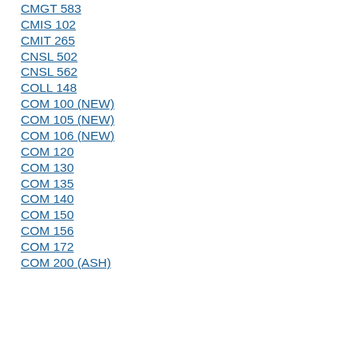CMGT 582
CMGT 583
CMIS 102
CMIT 265
CNSL 502
CNSL 562
COLL 148
COM 100 (NEW)
COM 105 (NEW)
COM 106 (NEW)
COM 120
COM 130
COM 135
COM 140
COM 150
COM 156
COM 172
COM 200 (ASH)